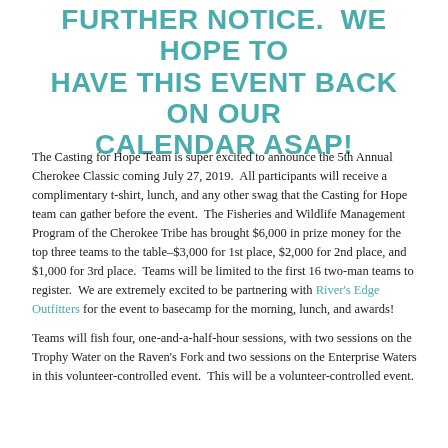FURTHER NOTICE. WE HOPE TO HAVE THIS EVENT BACK ON OUR CALENDAR ASAP!
The Casting for Hope Team is super excited to announce the 5th Annual Cherokee Classic coming July 27, 2019. All participants will receive a complimentary t-shirt, lunch, and any other swag that the Casting for Hope team can gather before the event. The Fisheries and Wildlife Management Program of the Cherokee Tribe has brought $6,000 in prize money for the top three teams to the table–$3,000 for 1st place, $2,000 for 2nd place, and $1,000 for 3rd place. Teams will be limited to the first 16 two-man teams to register. We are extremely excited to be partnering with River's Edge Outfitters for the event to basecamp for the morning, lunch, and awards!
Teams will fish four, one-and-a-half-hour sessions, with two sessions on the Trophy Water on the Raven's Fork and two sessions on the Enterprise Waters in this volunteer-controlled event. This will be a volunteer-controlled event.